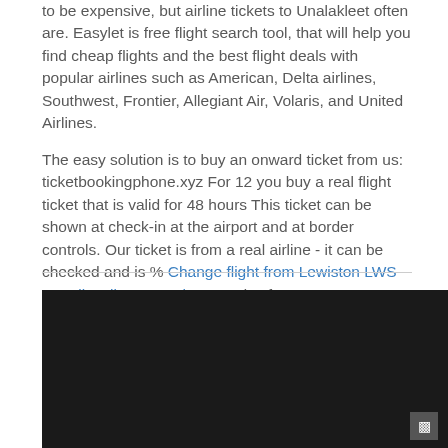to be expensive, but airline tickets to Unalakleet often are. Easylet is free flight search tool, that will help you find cheap flights and the best flight deals with popular airlines such as American, Delta airlines, Southwest, Frontier, Allegiant Air, Volaris, and United Airlines.
The easy solution is to buy an onward ticket from us: ticketbookingphone.xyz For 12 you buy a real flight ticket that is valid for 48 hours This ticket can be shown at check-in at the airport and at border controls. Our ticket is from a real airline - it can be checked and is % Change flight from Lewiston LWS to Kalispell GPI on phone and safe.
[Figure (other): Dark/black rectangle occupying the lower portion of the page, representing a video or image embed area with a small icon button in the bottom-right corner.]